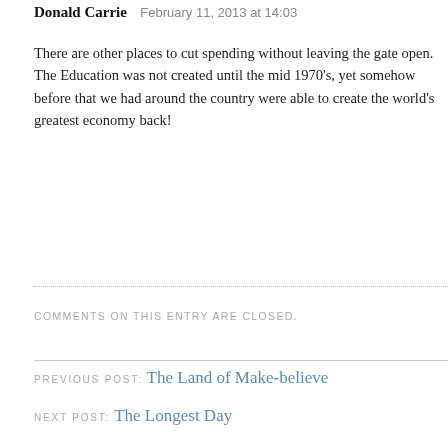Donald Carrie   February 11, 2013 at 14:03
There are other places to cut spending without leaving the gate open. The Education was not created until the mid 1970's, yet somehow before that we had around the country were able to create the world's greatest economy back!
COMMENTS ON THIS ENTRY ARE CLOSED.
PREVIOUS POST: The Land of Make-believe
NEXT POST: The Longest Day